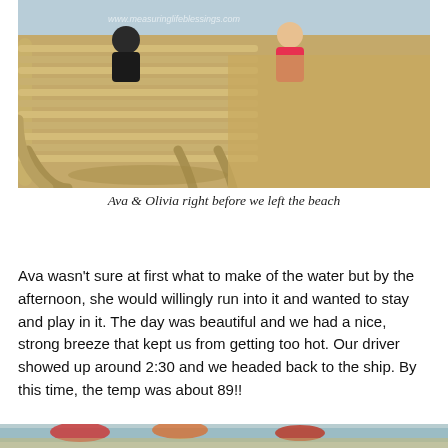[Figure (photo): Beach scene with two children sitting on/near a tan/gold colored beach lounge chair on sandy beach. Watermark reads www.measuringlifeblessings.com. Children visible near top, one in dark clothing, one in pink/red dress.]
Ava & Olivia right before we left the beach
Ava wasn't sure at first what to make of the water but by the afternoon, she would willingly run into it and wanted to stay and play in it. The day was beautiful and we had a nice, strong breeze that kept us from getting too hot. Our driver showed up around 2:30 and we headed back to the ship. By this time, the temp was about 89!!
[Figure (photo): Partial beach scene photo at bottom of page, showing colorful umbrellas and beach area, cropped off at page bottom.]